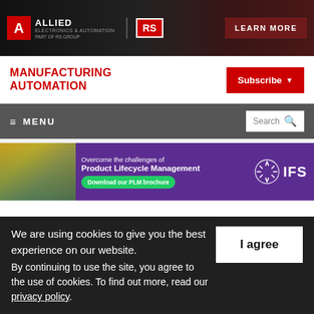[Figure (screenshot): Allied Electronics & Automation banner ad with RS logo and LEARN MORE button on dark background]
MANUFACTURING AUTOMATION
[Figure (screenshot): Subscribe button in red]
[Figure (screenshot): Navigation bar with hamburger menu MENU and search box]
[Figure (screenshot): IFS Product Lifecycle Management banner ad with worker and Download our PLM brochure button]
We are using cookies to give you the best experience on our website. By continuing to use the site, you agree to the use of cookies. To find out more, read our privacy policy.
I agree